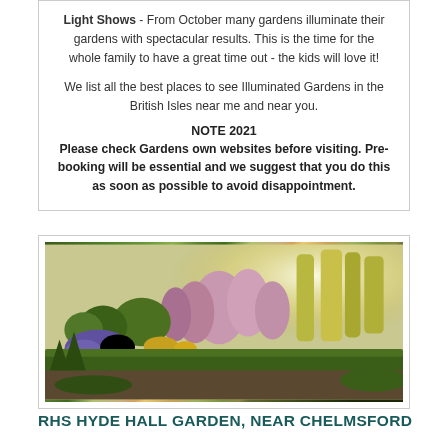Light Shows - From October many gardens illuminate their gardens with spectacular results. This is the time for the whole family to have a great time out - the kids will love it!

We list all the best places to see Illuminated Gardens in the British Isles near me and near you.
NOTE 2021
Please check Gardens own websites before visiting. Pre-booking will be essential and we suggest that you do this as soon as possible to avoid disappointment.
[Figure (photo): Photograph of a garden with colourful flowering plants including purple and pink blooms, green hedges, topiary, and warm sunlit background.]
RHS HYDE HALL GARDEN, NEAR CHELMSFORD